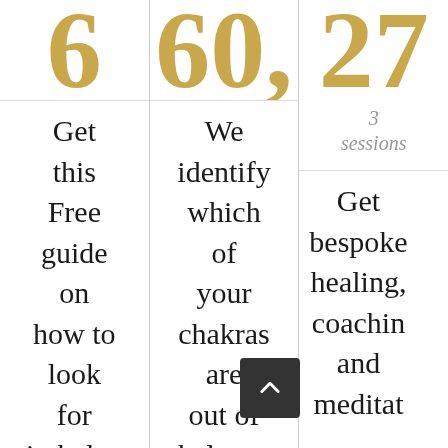6
Get this Free guide on how to look for imbalance
60,
We identify which of your chakras are out of balance
27
3 sessions
Get bespoke healing, coaching and meditation